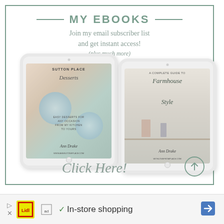MY EBOOKS
Join my email subscriber list and get instant access!
(plus much more)
[Figure (illustration): Two tablet devices displaying ebook covers: left tablet shows 'Sutton Place Desserts' by Ann Drake, right tablet shows 'A Complete Guide to Farmhouse Style' by Ann Drake]
Click Here!
[Figure (infographic): Advertisement bar showing Lidl logo with In-store shopping text and navigation arrow]